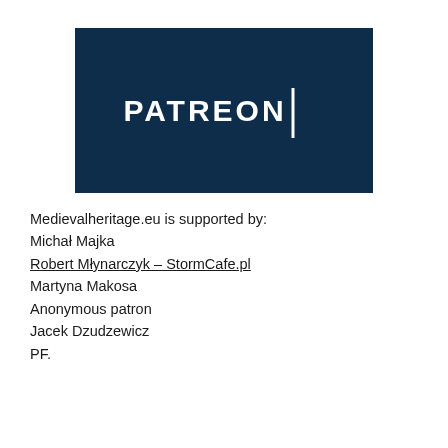[Figure (logo): Patreon logo: white text 'PATREON' with a vertical white bar on a dark navy blue rectangular background]
Medievalheritage.eu is supported by:
Michał Majka
Robert Młynarczyk – StormCafe.pl
Martyna Makosa
Anonymous patron
Jacek Dzudzewicz
PF.